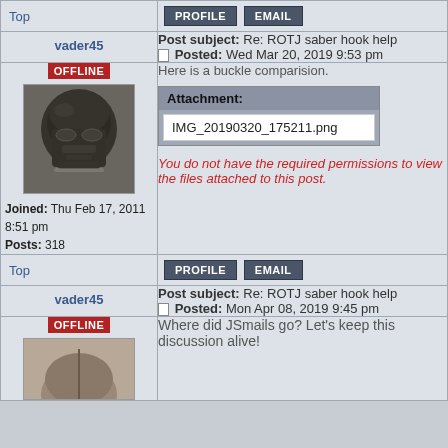Top
PROFILE  EMAIL
Post subject: Re: ROTJ saber hook help
Posted: Wed Mar 20, 2019 9:53 pm
vader45
[Figure (photo): Profile avatar photo of Darth Vader helmet]
OFFLINE
Here is a buckle comparision.
Attachment:
IMG_20190320_175211.png
You do not have the required permissions to view the files attached to this post.
Joined: Thu Feb 17, 2011 8:51 pm
Posts: 318
Top
PROFILE  EMAIL
Post subject: Re: ROTJ saber hook help
Posted: Mon Apr 08, 2019 9:45 pm
vader45
OFFLINE
Where did JSmails go? Let's keep this discussion alive!